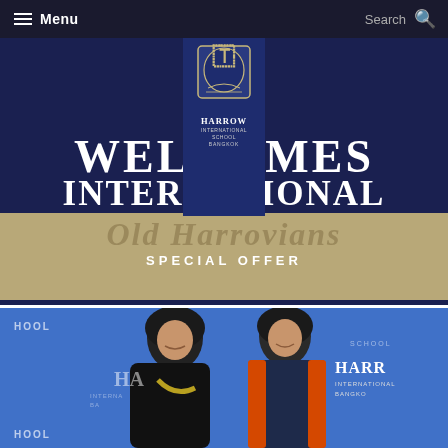Menu  Search
[Figure (illustration): Harrow International School Bangkok promotional banner with dark navy background showing school crest/logo centered, large serif text 'WELCOMES INTERNATIONAL' in white, gold/tan lower section with 'OLD HARROVIANS' watermark text, and 'SPECIAL OFFER' in white letters]
[Figure (photo): Two smiling young women in school uniforms embracing in front of a blue Harrow International School Bangkok banner backdrop. The woman on left wears a black blazer with yellow/green scarf, the woman on right wears a navy and orange academic gown. The Harrow International School Bangkok logo is visible in the background.]